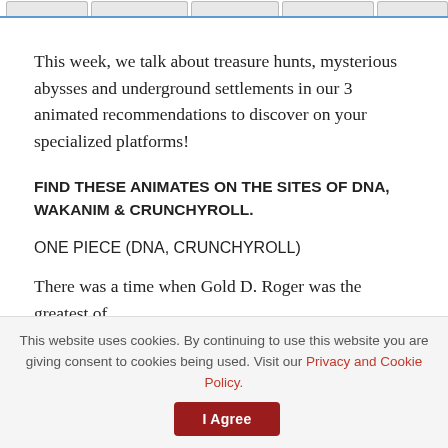Navigation tabs
This week, we talk about treasure hunts, mysterious abysses and underground settlements in our 3 animated recommendations to discover on your specialized platforms!
FIND THESE ANIMATES ON THE SITES OF DNA, WAKANIM & CRUNCHYROLL.
ONE PIECE (DNA, CRUNCHYROLL)
There was a time when Gold D. Roger was the greatest of
This website uses cookies. By continuing to use this website you are giving consent to cookies being used. Visit our Privacy and Cookie Policy.